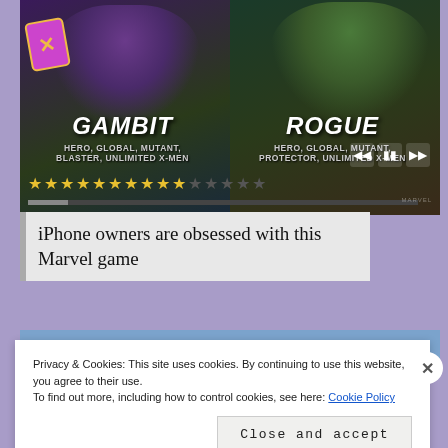[Figure (screenshot): Marvel game screenshot showing Gambit and Rogue characters side by side. Gambit on left with purple energy, tags: HERO, GLOBAL, MUTANT, BLASTER, UNLIMITED X-MEN. Rogue on right with green/yellow outfit, tags: HERO, GLOBAL, MUTANT, PROTECTOR, UNLIMITED X-MEN. Stars rating row and progress bar at bottom. Media playback controls visible.]
iPhone owners are obsessed with this Marvel game
Privacy & Cookies: This site uses cookies. By continuing to use this website, you agree to their use.
To find out more, including how to control cookies, see here: Cookie Policy
Close and accept